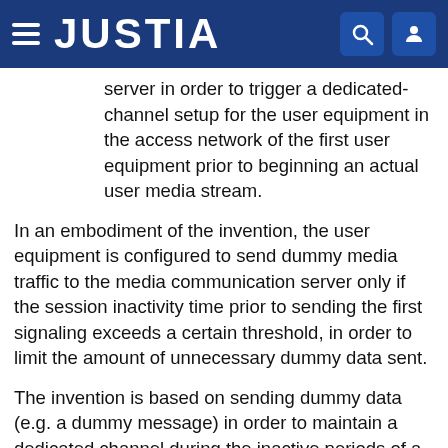JUSTIA
server in order to trigger a dedicated-channel setup for the user equipment in the access network of the first user equipment prior to beginning an actual user media stream.
In an embodiment of the invention, the user equipment is configured to send dummy media traffic to the media communication server only if the session inactivity time prior to sending the first signaling exceeds a certain threshold, in order to limit the amount of unnecessary dummy data sent.
The invention is based on sending dummy data (e.g. a dummy message) in order to maintain a dedicated channel during the inactive periods of a real-time media session or to trigger an early dedicated-channel setup in an access network. The invention prevents sets of user